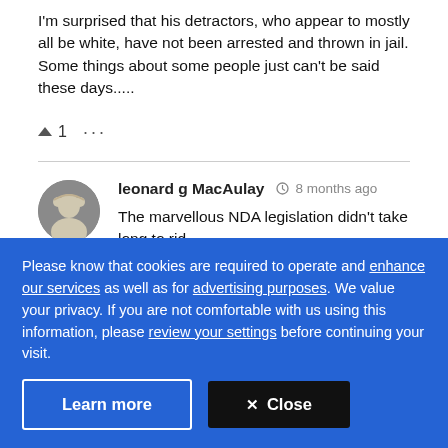I'm surprised that his detractors, who appear to mostly all be white, have not been arrested and thrown in jail. Some things about some people just can't be said these days.....
^ 1 ...
leonard g MacAulay · 8 months ago
The marvellous NDA legislation didn't take long to rid
Please know that cookies are required to operate and enhance our services as well as for advertising purposes. We value your privacy. If you are not comfortable with us using this information, please review your settings before continuing your visit.